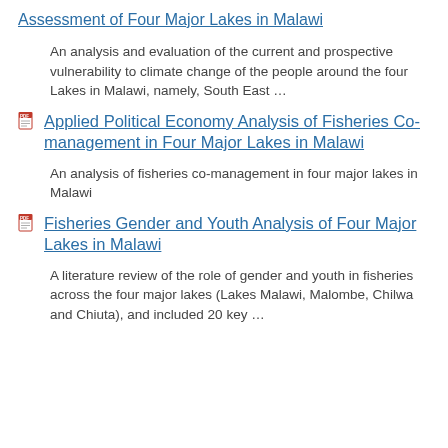Assessment of Four Major Lakes in Malawi
An analysis and evaluation of the current and prospective vulnerability to climate change of the people around the four Lakes in Malawi, namely, South East …
Applied Political Economy Analysis of Fisheries Co-management in Four Major Lakes in Malawi
An analysis of fisheries co-management in four major lakes in Malawi
Fisheries Gender and Youth Analysis of Four Major Lakes in Malawi
A literature review of the role of gender and youth in fisheries across the four major lakes (Lakes Malawi, Malombe, Chilwa and Chiuta), and included 20 key …